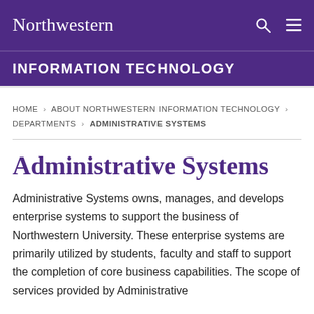Northwestern
INFORMATION TECHNOLOGY
HOME › ABOUT NORTHWESTERN INFORMATION TECHNOLOGY › DEPARTMENTS › ADMINISTRATIVE SYSTEMS
Administrative Systems
Administrative Systems owns, manages, and develops enterprise systems to support the business of Northwestern University. These enterprise systems are primarily utilized by students, faculty and staff to support the completion of core business capabilities. The scope of services provided by Administrative